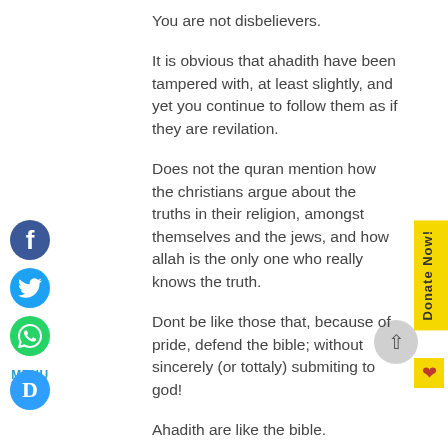You are not disbelievers.
It is obvious that ahadith have been tampered with, at least slightly, and yet you continue to follow them as if they are revilation.
Does not the quran mention how the christians argue about the truths in their religion, amongst themselves and the jews, and how allah is the only one who really knows the truth.
Dont be like those that, because of pride, defend the bible; without sincerely (or tottaly) submiting to god!
Ahadith are like the bible.